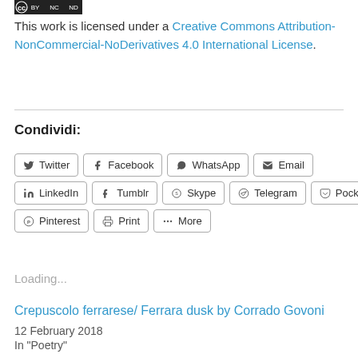[Figure (logo): Creative Commons BY NC ND license badge]
This work is licensed under a Creative Commons Attribution-NonCommercial-NoDerivatives 4.0 International License.
Condividi:
Twitter  Facebook  WhatsApp  Email  LinkedIn  Tumblr  Skype  Telegram  Pocket  Pinterest  Print  More
Loading...
Crepuscolo ferrarese/ Ferrara dusk by Corrado Govoni
12 February 2018
In "Poetry"